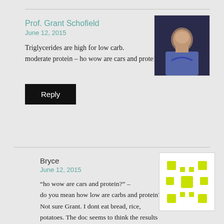Prof. Grant Schofield
June 12, 2015
Triglycerides are high for low carb. moderate protein – ho wow are cars and protein?
Reply
Bryce
June 12, 2015
“ho wow are cars and protein?” – do you mean how low are carbs and protein? Not sure Grant. I dont eat bread, rice, potatoes. The doc seems to think the results are all normal but are you saying they should